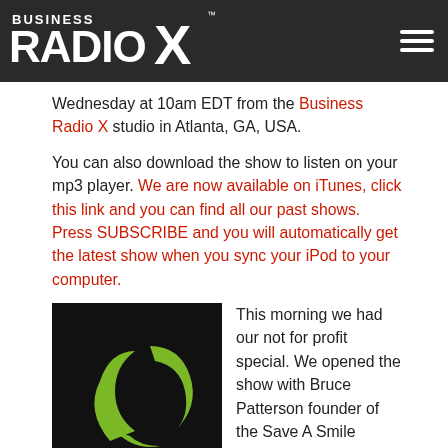Business Radio X [logo] [hamburger menu]
Wednesday at 10am EDT from the Business Radio X studio in Atlanta, GA, USA.
You can also download the show to listen on your mp3 player. We are now available on iTunes, click this link and you can find all our past shows. Press SUBSCRIBE and you will automatically get the latest show when you sync your iPod to your computer.
[Figure (logo): Business Radio X icon - dark background with green stylized symbol]
This morning we had our not for profit special. We opened the show with Bruce Patterson founder of the Save A Smile Foundation. Bruce is a long time Atlanta entrepreneur who has switched gears from being a business owner to being a volunteer in his own foundation.  Founded in 2008, Save A Smile engages in a wide range of activities in the community in an effort to not only raise awareness about cleft lip and cleft palate defects, but to raise funds in an effort to